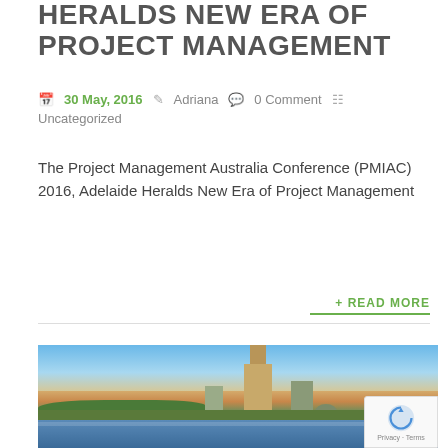HERALDS NEW ERA OF PROJECT MANAGEMENT
30 May, 2016  Adriana  0 Comment  Uncategorized
The Project Management Australia Conference (PMIAC) 2016, Adelaide Heralds New Era of Project Management
+ READ MORE
[Figure (photo): Cityscape photo of Adelaide showing the River Torrens, trees, buildings including a tall tower and a dome-shaped structure, against a blue sky with clouds at dusk/sunset.]